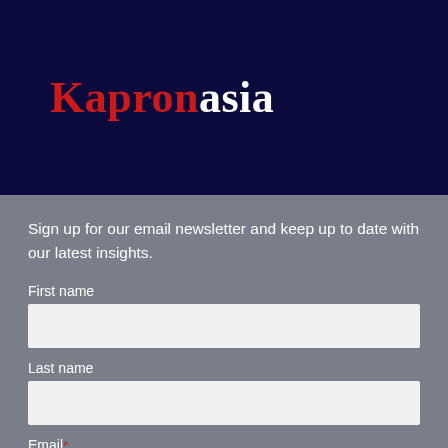[Figure (logo): Kapronasia logo — 'Kapron' in red serif font and 'asia' in white serif font on dark navy background]
Sign up for our email newsletter and keep up to date with our latest insights.
First name
Last name
Email*